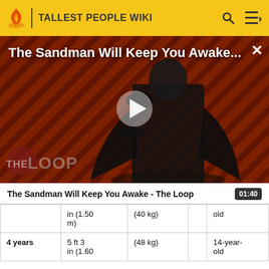TALLEST PEOPLE WIKI
[Figure (screenshot): Video thumbnail for 'The Sandman Will Keep You Awake - The Loop' showing a dark-cloaked figure against a red diagonal striped background, with a play button overlay and The Loop logo watermark.]
The Sandman Will Keep You Awake - The Loop
|  | in (1.50 m) | (40 kg) |  | old |
| 4 years | 5 ft 3 in (1.60 | (48 kg) |  | 14-year-old |